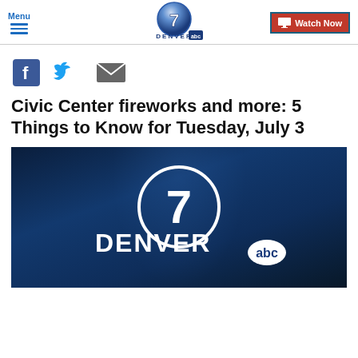Menu | Denver 7 ABC | Watch Now
[Figure (logo): Denver 7 ABC logo - circular badge with number 7 and ABC text]
[Figure (infographic): Social sharing icons: Facebook, Twitter, Email]
Civic Center fireworks and more: 5 Things to Know for Tuesday, July 3
[Figure (photo): Denver 7 ABC news logo on blue broadcast background with DENVER abc text overlay]